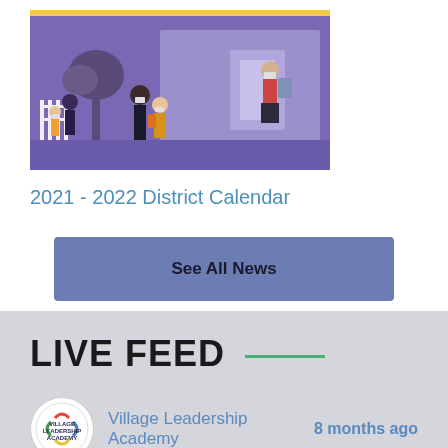[Figure (illustration): Illustration of people wearing masks outside a school building with purple/violet color theme, showing adults and children with backpacks]
2021 - 2022 District Calendar
See All News
LIVE FEED
Village Leadership Academy
8 months ago